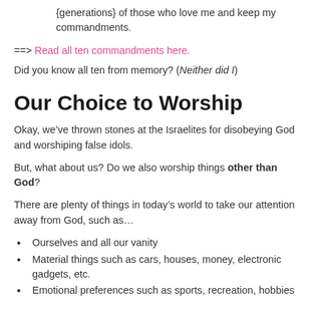{generations} of those who love me and keep my commandments.
==> Read all ten commandments here.
Did you know all ten from memory? (Neither did I)
Our Choice to Worship
Okay, we’ve thrown stones at the Israelites for disobeying God and worshiping false idols.
But, what about us? Do we also worship things other than God?
There are plenty of things in today’s world to take our attention away from God, such as…
Ourselves and all our vanity
Material things such as cars, houses, money, electronic gadgets, etc.
Emotional preferences such as sports, recreation, hobbies